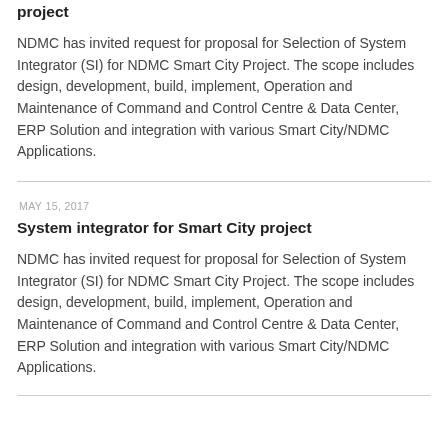project
NDMC has invited request for proposal for Selection of System Integrator (SI) for NDMC Smart City Project. The scope includes design, development, build, implement, Operation and Maintenance of Command and Control Centre & Data Center, ERP Solution and integration with various Smart City/NDMC Applications.
MAY 15, 2017
System integrator for Smart City project
NDMC has invited request for proposal for Selection of System Integrator (SI) for NDMC Smart City Project. The scope includes design, development, build, implement, Operation and Maintenance of Command and Control Centre & Data Center, ERP Solution and integration with various Smart City/NDMC Applications.